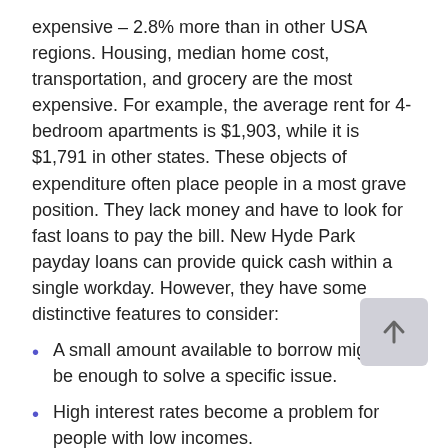expensive – 2.8% more than in other USA regions. Housing, median home cost, transportation, and grocery are the most expensive. For example, the average rent for 4-bedroom apartments is $1,903, while it is $1,791 in other states. These objects of expenditure often place people in a most grave position. They lack money and have to look for fast loans to pay the bill. New Hyde Park payday loans can provide quick cash within a single workday. However, they have some distinctive features to consider:
A small amount available to borrow might not be enough to solve a specific issue.
High interest rates become a problem for people with low incomes.
Extra charges substantially increase the cost of a loan.
The short duration of a deal makes a borrower repay in a month maximum.